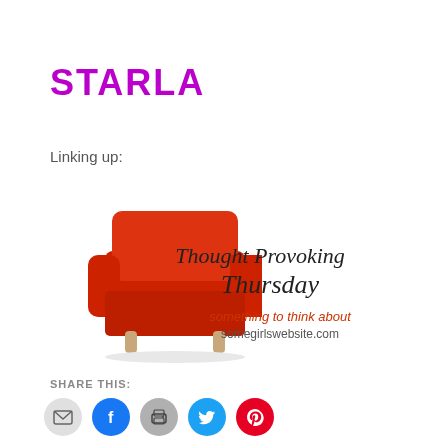STARLA
Linking up:
[Figure (illustration): Thought Provoking Thursday banner with a red armchair on the left and handwritten-style text 'Thought Provoking Thursday' with subtitle 'something to think about somegirlswebsite.com']
SHARE THIS:
[Figure (infographic): Row of social sharing icon circles: email (grey), Facebook (blue), print (grey), Twitter (cyan), Pinterest (red)]